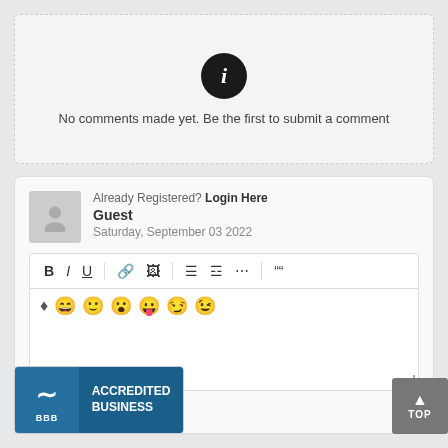[Figure (illustration): Black circle with white italic 'i' information icon]
No comments made yet. Be the first to submit a comment
Already Registered? Login Here
Guest
Saturday, September 03 2022
[Figure (screenshot): Text editor toolbar with Bold (B), Italic (I), Underline (U), link, image, list, ordered list, more, and quote buttons; second row has eraser and emoji buttons]
[Figure (logo): BBB Accredited Business badge - blue logo with BBB text on left and ACCREDITED BUSINESS text on right]
[Figure (other): Gray TOP scroll-to-top button with upward arrow]